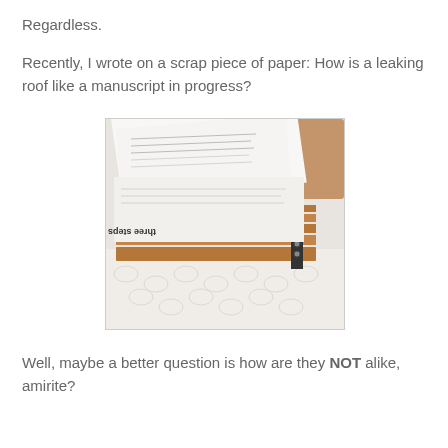Regardless.
Recently, I wrote on a scrap piece of paper: How is a leaking roof like a manuscript in progress?
[Figure (photo): A stack of manuscript drafts on a textured white surface. The top pages are printed documents with text, and visible near the middle is text reading 'three steps January 2020 draft' upside-down. Several draft iterations are stacked, with brown manila folder separators between them. A wooden chair or furniture piece is visible in the upper right background.]
Well, maybe a better question is how are they NOT alike, amirite?